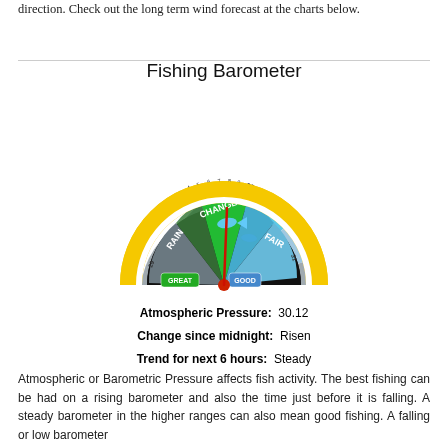direction. Check out the long term wind forecast at the charts below.
Fishing Barometer
[Figure (infographic): A semicircular fishing barometer gauge with yellow outer ring showing pressure numbers (29 to 31), colored zones: gray (RAIN), green (CHANGE), green bright (GREAT/GOOD fish zone), light blue (FAIR), with a red needle pointing near 30.12. Labels: RAIN, CHANGE, FAIR, GREAT, GOOD, Fishing Barometer.]
Atmospheric Pressure:  30.12
Change since midnight:  Risen
Trend for next 6 hours:  Steady
Atmospheric or Barometric Pressure affects fish activity. The best fishing can be had on a rising barometer and also the time just before it is falling. A steady barometer in the higher ranges can also mean good fishing. A falling or low barometer